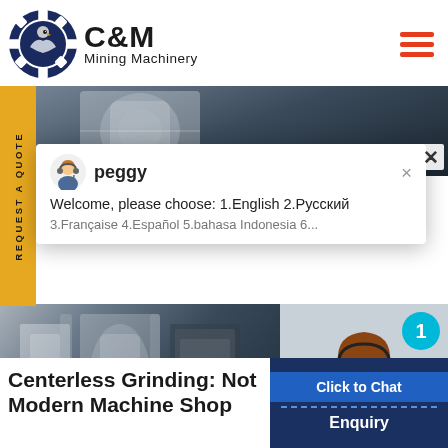[Figure (logo): C&M Mining Machinery logo with eagle/gear emblem in navy blue circle and bold brand name text]
[Figure (screenshot): Website screenshot showing mining machinery hero image, a chat popup from 'peggy' with language selection, and a customer support representative photo with notification badge and Click to Chat / Enquiry buttons]
Centerless Grinding: Not Modern Machine Shop